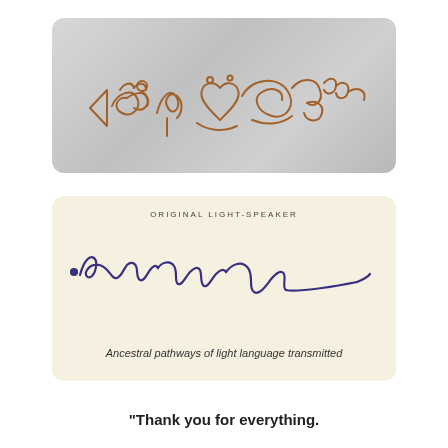[Figure (illustration): A card with silver/grey metallic gradient background displaying ornate golden-brown decorative calligraphic light language symbols — flowing swirls, loops, heart shapes, and abstract cursive glyphs drawn in a warm amber/brown color.]
[Figure (illustration): A cream/beige card labeled 'ORIGINAL LIGHT-SPEAKER' at the top in small spaced capitals. Below is a flowing cursive handwritten signature in purple/dark blue ink, followed by the handwritten italic text 'Ancestral pathways of light language transmitted'.]
“Thank you for everything.